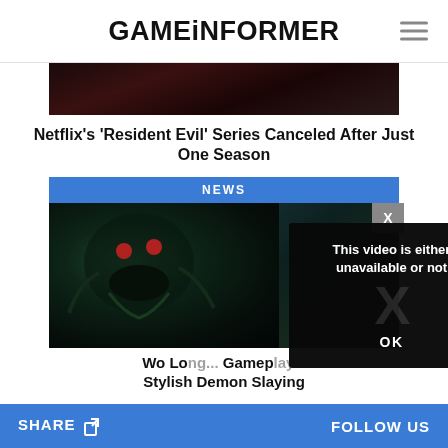GAMEiNFORMER
[Figure (screenshot): Dark atmospheric image, top portion of a Resident Evil article thumbnail]
Netflix's ‘Resident Evil’ Series Canceled After Just One Season
NEWS
[Figure (screenshot): Dark creature art for Wo Long game article, with a video unavailable overlay showing: This video is either unavailable or not, OK]
Wo Lo... Gamep... Stylish Demon Slaying
SHARE   FOLLOW US